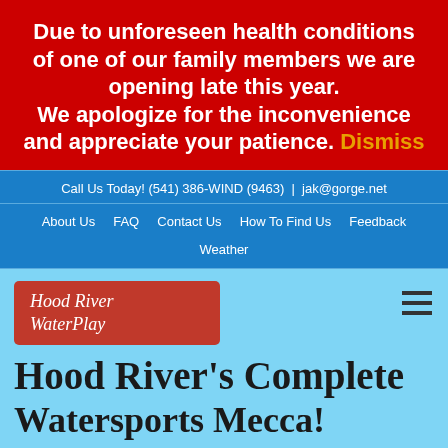Due to unforeseen health conditions of one of our family members we are opening late this year. We apologize for the inconvenience and appreciate your patience. Dismiss
Call Us Today! (541) 386-WIND (9463) | jak@gorge.net
About Us   FAQ   Contact Us   How To Find Us   Feedback
Weather
[Figure (logo): Hood River WaterPlay logo — red rounded rectangle with italic white text]
Hood River's Complete Watersports Mecca!